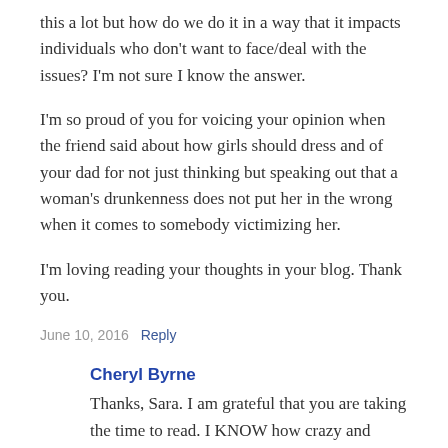this a lot but how do we do it in a way that it impacts individuals who don't want to face/deal with the issues? I'm not sure I know the answer.
I'm so proud of you for voicing your opinion when the friend said about how girls should dress and of your dad for not just thinking but speaking out that a woman's drunkenness does not put her in the wrong when it comes to somebody victimizing her.
I'm loving reading your thoughts in your blog. Thank you.
June 10, 2016  Reply
Cheryl Byrne
Thanks, Sara. I am grateful that you are taking the time to read. I KNOW how crazy and emotional this time is even without these kinds of head-exploding things to think about for our daughters.